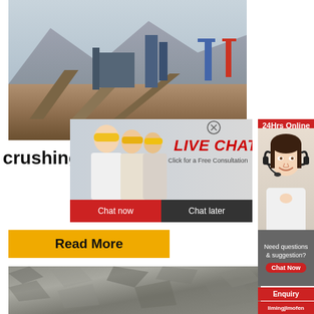[Figure (photo): Industrial mining/crushing facility with conveyors and equipment against mountain backdrop]
crushing
[Figure (screenshot): Live chat overlay with workers in yellow hard hats, LIVE CHAT title in red italic, 'Click for a Free Consultation' subtitle, Chat now and Chat later buttons]
24Hrs Online
[Figure (photo): Female customer support agent wearing headset, smiling]
[Figure (infographic): Yellow Read More button]
[Figure (photo): Close-up photo of crushed rock/stone material]
Need questions & suggestion?
Chat Now
Enquiry
limingjlmofen